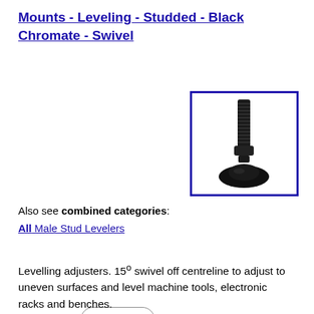Mounts - Leveling - Studded - Black Chromate - Swivel
[Figure (photo): Black chromate leveling mount with threaded stud and swivel base, shown at an angle against white background, inside a blue border box.]
Sizes & Prices
Also see combined categories:
All Male Stud Levelers
Levelling adjusters. 15° swivel off centreline to adjust to uneven surfaces and level machine tools, electronic racks and benches.